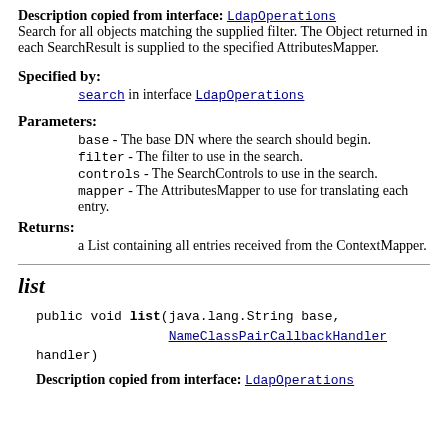Description copied from interface: LdapOperations
Search for all objects matching the supplied filter. The Object returned in each SearchResult is supplied to the specified AttributesMapper.
Specified by:
search in interface LdapOperations
Parameters:
base - The base DN where the search should begin.
filter - The filter to use in the search.
controls - The SearchControls to use in the search.
mapper - The AttributesMapper to use for translating each entry.
Returns:
a List containing all entries received from the ContextMapper.
list
public void list(java.lang.String base,
                 NameClassPairCallbackHandler handler)
Description copied from interface: LdapOperations